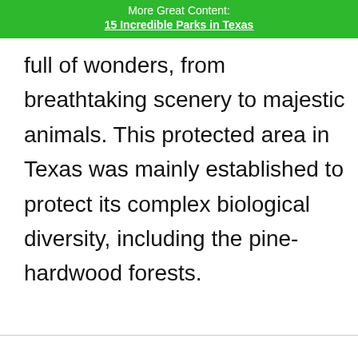More Great Content:
15 Incredible Parks in Texas
full of wonders, from breathtaking scenery to majestic animals. This protected area in Texas was mainly established to protect its complex biological diversity, including the pine-hardwood forests.